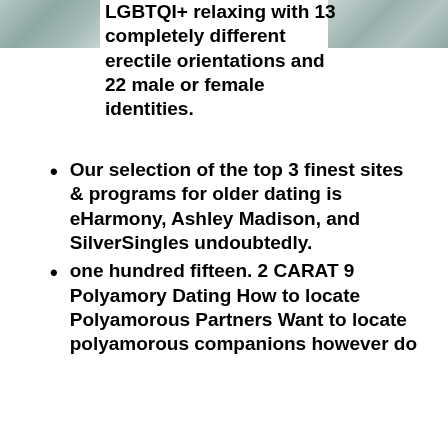[Figure (photo): Decorative marble/map tile image on the left top corner]
[Figure (photo): Decorative marble/map tile image on the right top corner]
LGBTQI+ relaxing with 13 completely different erectile orientations and 22 male or female identities.
Our selection of the top 3 finest sites & programs for older dating is eHarmony, Ashley Madison, and SilverSingles undoubtedly.
one hundred fifteen. 2 CARAT 9 Polyamory Dating How to locate Polyamorous Partners Want to locate polyamorous companions however do